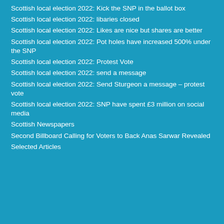Scottish local election 2022: Kick the SNP in the ballot box
Scottish local election 2022: libaries closed
Scottish local election 2022: Likes are nice but shares are better
Scottish local election 2022: Pot holes have increased 500% under the SNP
Scottish local election 2022: Protest Vote
Scottish local election 2022: send a message
Scottish local election 2022: Send Sturgeon a message – protest vote
Scottish local election 2022: SNP have spent £3 million on social media
Scottish Newspapers
Second Billboard Calling for Voters to Back Anas Sarwar Revealed
Selected Articles